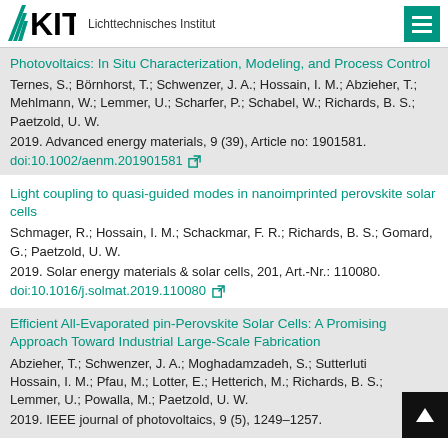KIT – Lichttechnisches Institut
Photovoltaics: In Situ Characterization, Modeling, and Process Control
Ternes, S.; Börnhorst, T.; Schwenzer, J. A.; Hossain, I. M.; Abzieher, T.; Mehlmann, W.; Lemmer, U.; Scharfer, P.; Schabel, W.; Richards, B. S.; Paetzold, U. W.
2019. Advanced energy materials, 9 (39), Article no: 1901581.
doi:10.1002/aenm.201901581
Light coupling to quasi-guided modes in nanoimprinted perovskite solar cells
Schmager, R.; Hossain, I. M.; Schackmar, F. R.; Richards, B. S.; Gomard, G.; Paetzold, U. W.
2019. Solar energy materials & solar cells, 201, Art.-Nr.: 110080.
doi:10.1016/j.solmat.2019.110080
Efficient All-Evaporated pin-Perovskite Solar Cells: A Promising Approach Toward Industrial Large-Scale Fabrication
Abzieher, T.; Schwenzer, J. A.; Moghadamzadeh, S.; Sutterluti; Hossain, I. M.; Pfau, M.; Lotter, E.; Hetterich, M.; Richards, B. S.; Lemmer, U.; Powalla, M.; Paetzold, U. W.
2019. IEEE journal of photovoltaics, 9 (5), 1249–1257.